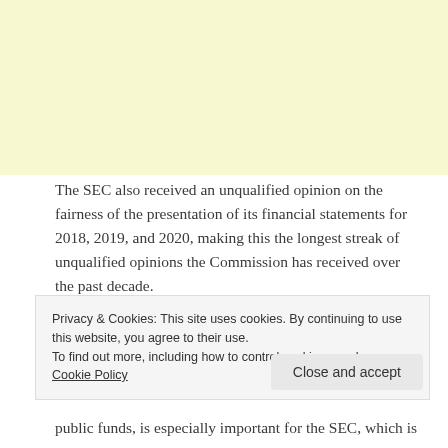[Figure (other): Yellow/cream colored banner at the top of the page]
The SEC also received an unqualified opinion on the fairness of the presentation of its financial statements for 2018, 2019, and 2020, making this the longest streak of unqualified opinions the Commission has received over the past decade.
“We take pride in the four-year streak of unqualified opinions we have obtained from COA, which serves as a concrete proof of our adherence to transparency.
Privacy & Cookies: This site uses cookies. By continuing to use this website, you agree to their use. To find out more, including how to control cookies, see here: Cookie Policy
Close and accept
public funds, is especially important for the SEC, which is